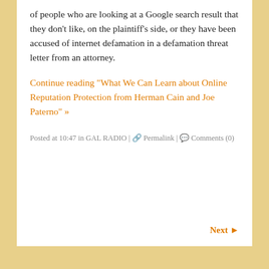of people who are looking at a Google search result that they don't like, on the plaintiff's side, or they have been accused of internet defamation in a defamation threat letter from an attorney.
Continue reading "What We Can Learn about Online Reputation Protection from Herman Cain and Joe Paterno" »
Posted at 10:47 in GAL RADIO | Permalink | Comments (0)
Next »